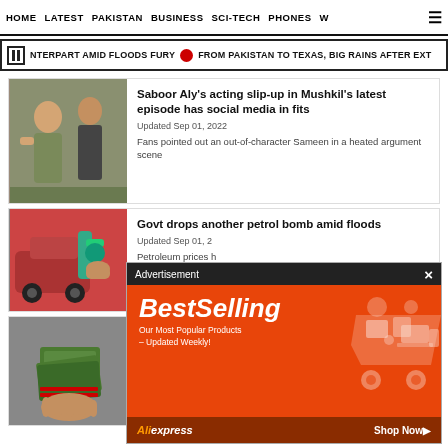HOME  LATEST  PAKISTAN  BUSINESS  SCI-TECH  PHONES  W ☰
NTERPART AMID FLOODS FURY  🔴  FROM PAKISTAN TO TEXAS, BIG RAINS AFTER EXT
Saboor Aly's acting slip-up in Mushkil's latest episode has social media in fits
Updated Sep 01, 2022
Fans pointed out an out-of-character Sameen in a heated argument scene
Govt drops another petrol bomb amid floods
Updated Sep 01, 2022
Petroleum prices h litre
[Figure (screenshot): Advertisement overlay showing BestSelling AliExpress ad with orange background]
Rupee continu after IMF tran
Updated Sep 01, 2022
PKR gains 1.48, USD trades at 217.27 in interbank market